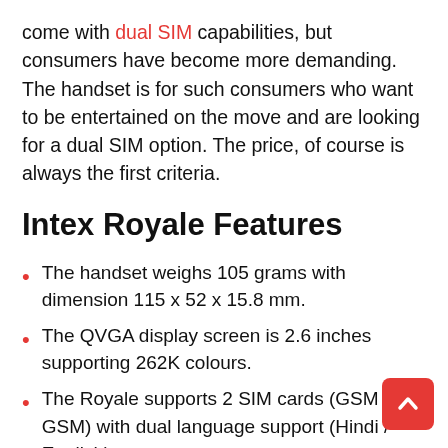come with dual SIM capabilities, but consumers have become more demanding. The handset is for such consumers who want to be entertained on the move and are looking for a dual SIM option. The price, of course is always the first criteria.
Intex Royale Features
The handset weighs 105 grams with dimension 115 x 52 x 15.8 mm.
The QVGA display screen is 2.6 inches supporting 262K colours.
The Royale supports 2 SIM cards (GSM + GSM) with dual language support (Hindi / English).
This is a 2G phone with GPRS supported. You can also use this handset as a modem, connect it with your PC / Laptop and surf via the GPRS conne
Intex Royale handset houses a 2 MP camera wi